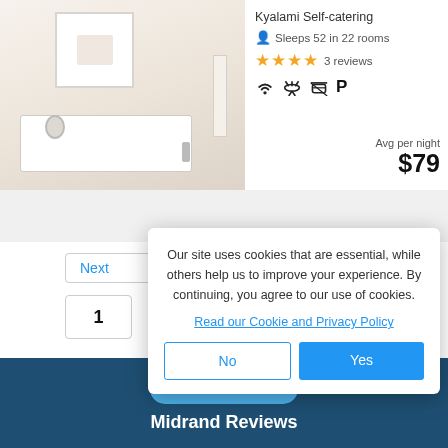[Figure (photo): Bathroom interior with white bathtub, white cabinets, and framed artwork on wall]
Kyalami Self-catering
Sleeps 52 in 22 rooms
★★★★ 3 reviews
WiFi, BBQ/Braai, Parking amenity icons
Avg per night $79
Ne[xt]
1
Our site uses cookies that are essential, while others help us to improve your experience. By continuing, you agree to our use of cookies. Read our Cookie and Privacy Policy
No
Yes
Filters
Midrand Reviews